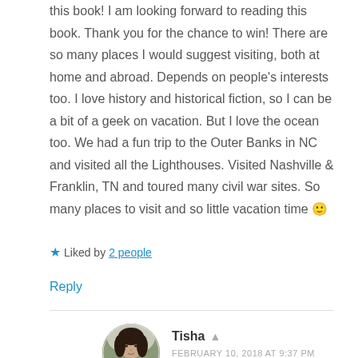this book! I am looking forward to reading this book. Thank you for the chance to win! There are so many places I would suggest visiting, both at home and abroad. Depends on people's interests too. I love history and historical fiction, so I can be a bit of a geek on vacation. But I love the ocean too. We had a fun trip to the Outer Banks in NC and visited all the Lighthouses. Visited Nashville & Franklin, TN and toured many civil war sites. So many places to visit and so little vacation time 🙂
★ Liked by 2 people
Reply
[Figure (photo): Circular avatar photo of user Tisha, showing a woman with dark hair]
Tisha 👤 FEBRUARY 10, 2018 AT 9:37 PM